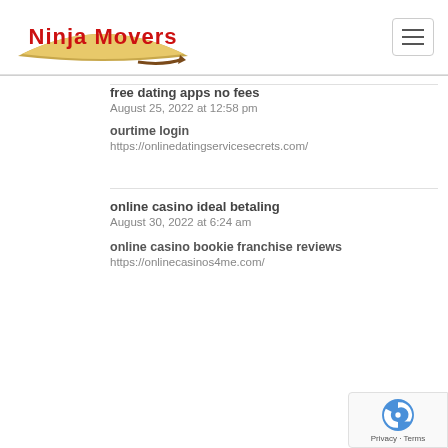[Figure (logo): Ninja Movers logo with red text on a beige/gold arc banner with a brown curved arrow]
free dating apps no fees
August 25, 2022 at 12:58 pm
ourtime login
https://onlinedatingservicesecrets.com/
online casino ideal betaling
August 30, 2022 at 6:24 am
online casino bookie franchise reviews
https://onlinecasinos4me.com/
[Figure (other): reCAPTCHA badge with Privacy - Terms text]